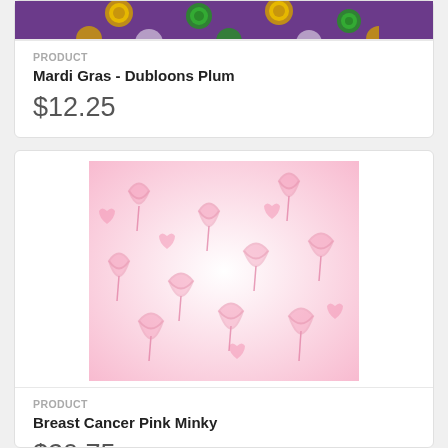[Figure (photo): Mardi Gras Dubloons Plum fabric swatch showing colorful coins on purple background (partial view at top)]
PRODUCT
Mardi Gras - Dubloons Plum
$12.25
[Figure (photo): Breast Cancer Pink Minky fabric swatch showing pink awareness ribbons and hearts on white/pink background]
PRODUCT
Breast Cancer Pink Minky
$20.75